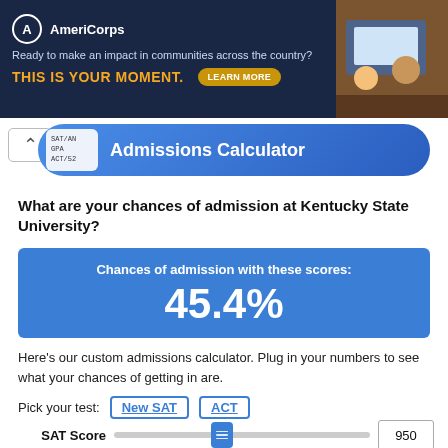[Figure (screenshot): AmeriCorps advertisement banner with dark navy background, logo, tagline 'Ready to make an impact in communities across the country?', 'THIS IS YOUR MOMENT.' in orange, and a LEARN MORE button. Right side shows a photo of people at a computer.]
[Figure (screenshot): Admissions Calculator tab/button with blue pill shape and a calculator icon on the left showing SAT/ACT/GPA labels.]
What are your chances of admission at Kentucky State University?
[Figure (infographic): Blue box showing 'Chances of admission with these scores: 45.4%']
Here's our custom admissions calculator. Plug in your numbers to see what your chances of getting in are.
Pick your test: New SAT  ACT
SAT Score  [slider]  950
Your GPA  [slider]  2.8